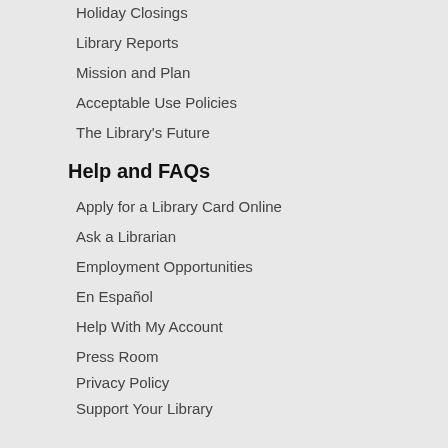Holiday Closings
Library Reports
Mission and Plan
Acceptable Use Policies
The Library's Future
Help and FAQs
Apply for a Library Card Online
Ask a Librarian
Employment Opportunities
En Español
Help With My Account
Press Room
Privacy Policy
Support Your Library
Stay Connected with MCPL
[Figure (illustration): Five social media icons in a row: Facebook, Instagram, Twitter, Pinterest, Vimeo — all rendered in dark gray circles]